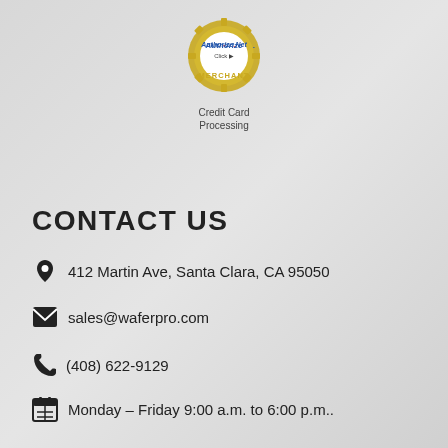[Figure (logo): Authorize.Net Click Merchant badge with gear/seal icon and 'Credit Card Processing' text below]
CONTACT US
412 Martin Ave, Santa Clara, CA 95050
sales@waferpro.com
(408) 622-9129
Monday – Friday 9:00 a.m. to 6:00 p.m..
[Figure (logo): PayPal, MasterCard, VISA, and American Express payment logos displayed as rounded rectangle cards]
[Figure (logo): WaferPro logo - blue circle with WAFERPRO text, partially visible at bottom]